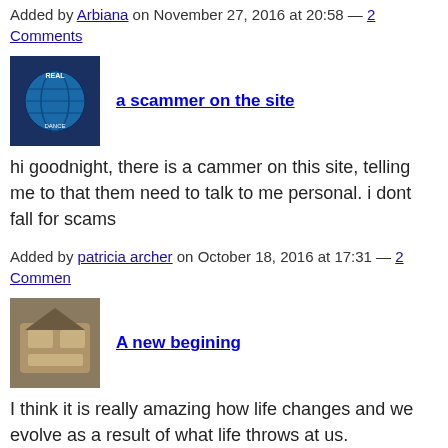Added by Arbiana on November 27, 2016 at 20:58 — 2 Comments
a scammer on the site
hi goodnight, there is a cammer on this site, telling me to that them need to talk to me personal. i dont fall for scams
Added by patricia archer on October 18, 2016 at 17:31 — 2 Comments
A new begining
I think it is really amazing how life changes and we evolve as a result of what life throws at us.
I have had a lot of change happening in my life over the p
I grew closer to my Dad last year during Football season. passed away in December. I've grown closer to my Mom s passed away. I now have and ride a new motorcycle as my transportation. I've taken up Archery with my Mom around Day. Began medical treatments.